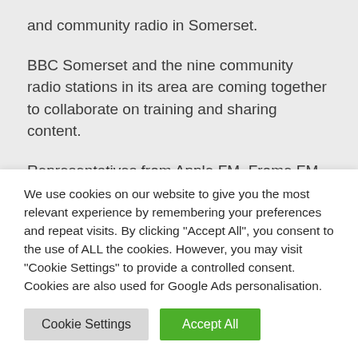and community radio in Somerset.

BBC Somerset and the nine community radio stations in its area are coming together to collaborate on training and sharing content.

Representatives from Apple FM, Frome FM, Glastonbury FM, Radio Ninesprings, Sedgemoor FM, Somer Valley FM, 10Radio, Tone FM and West Somerset Radio met in the
We use cookies on our website to give you the most relevant experience by remembering your preferences and repeat visits. By clicking "Accept All", you consent to the use of ALL the cookies. However, you may visit "Cookie Settings" to provide a controlled consent. Cookies are also used for Google Ads personalisation.